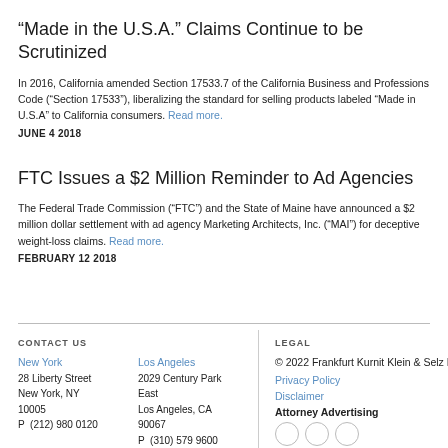“Made in the U.S.A.” Claims Continue to be Scrutinized
In 2016, California amended Section 17533.7 of the California Business and Professions Code (“Section 17533”), liberalizing the standard for selling products labeled “Made in U.S.A” to California consumers. Read more.
JUNE 4 2018
FTC Issues a $2 Million Reminder to Ad Agencies
The Federal Trade Commission (“FTC”) and the State of Maine have announced a $2 million dollar settlement with ad agency Marketing Architects, Inc. (“MAI”) for deceptive weight-loss claims. Read more.
FEBRUARY 12 2018
CONTACT US | New York | 28 Liberty Street | New York, NY 10005 | P (212) 980 0120 | Los Angeles | 2029 Century Park East | Los Angeles, CA 90067 | P (310) 579 9600 | LEGAL | © 2022 Frankfurt Kurnit Klein & Selz PC | Privacy Policy | Disclaimer | Attorney Advertising